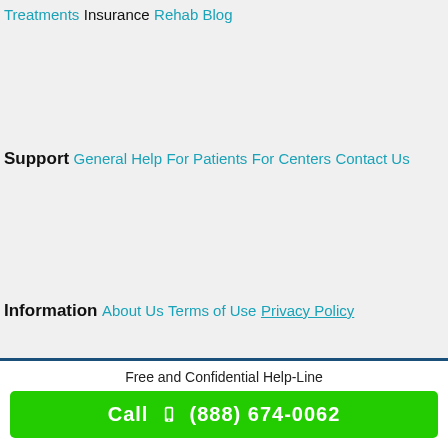Treatments
Insurance
Rehab Blog
Support
General Help
For Patients
For Centers
Contact Us
Information
About Us
Terms of Use
Privacy Policy
Free and Confidential Help-Line
Call  (888) 674-0062